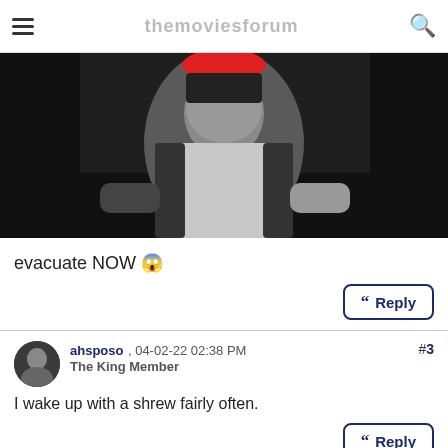themoviesforum
[Figure (photo): Black and white movie still showing a man in a white shirt, with a red circular element at the top center]
evacuate NOW 😱
Reply
ahsposo , 04-02-22 02:38 PM
The King Member
#3
I wake up with a shrew fairly often.
Reply